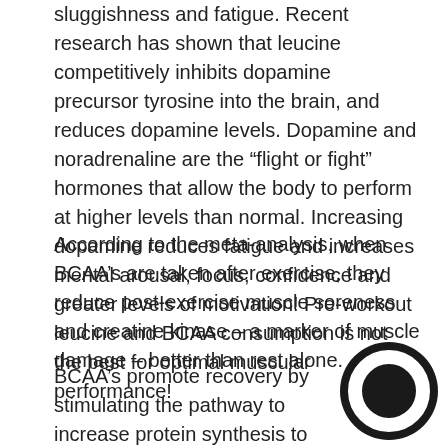sluggishness and fatigue. Recent research has shown that leucine competitively inhibits dopamine precursor tyrosine into the brain, and reduces dopamine levels. Dopamine and noradrenaline are the "flight or fight" hormones that allow the body to perform at higher levels than normal. Increasing dopamine reduces fatigue and increases mental arousal, focus, confidence and greater levels of motivation! Pre-workout leucine and BCAA consumption is not the best for optimal muscular performance!
According to the meta-analysis, when BCAA's are taken after exercise, they reduce post-exercise muscle soreness and creatine kinase – a marker of muscle damage – better than rest alone.
BCAA's promote recovery by stimulating the pathway to increase protein synthesis to repair injured tissue. Leucine, one of the BCAAs, is the
[Figure (logo): A circular logo with a dark ring/O shape on a black circular background, partially visible in the bottom-right corner]